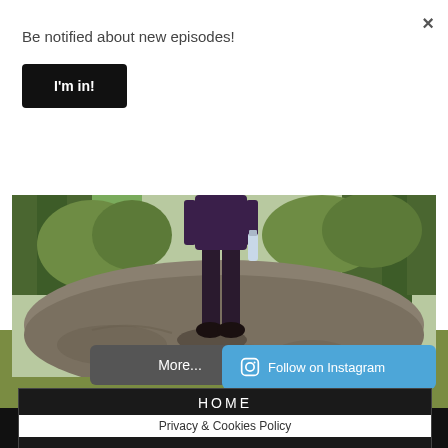×
Be notified about new episodes!
I'm in!
[Figure (photo): Person standing on a large flat rock outcrop in a woodland/countryside setting, wearing dark clothing and holding a water bottle. Trees and green fields visible in the background.]
More...
Follow on Instagram
HOME
Privacy & Cookies Policy